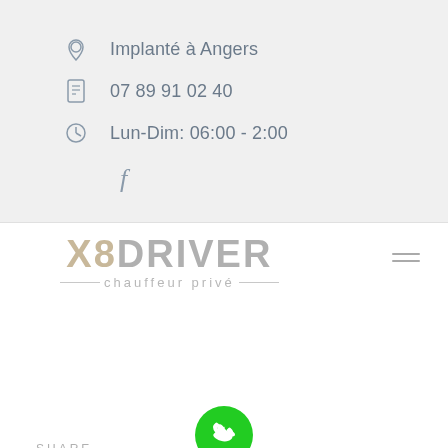Implanté à Angers
07 89 91 02 40
Lun-Dim: 06:00 - 2:00
f
[Figure (logo): X8 DRIVER chauffeur privé logo with navigation hamburger menu]
SHARE